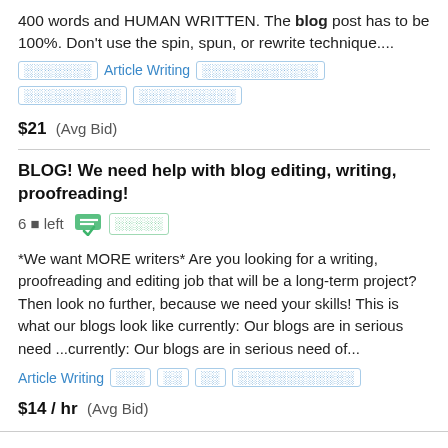400 words and HUMAN WRITTEN. The blog post has to be 100%. Don't use the spin, spun, or rewrite technique....
[tags] Article Writing [tags] [tags] [tags]
$21  (Avg Bid)
BLOG! We need help with blog editing, writing, proofreading!  6 ■ left  [badge icon]  ████
*We want MORE writers* Are you looking for a writing, proofreading and editing job that will be a long-term project? Then look no further, because we need your skills! This is what our blogs look like currently: Our blogs are in serious need ...currently: Our blogs are in serious need of...
Article Writing ███ ██ ██ ████████████
$14 / hr  (Avg Bid)